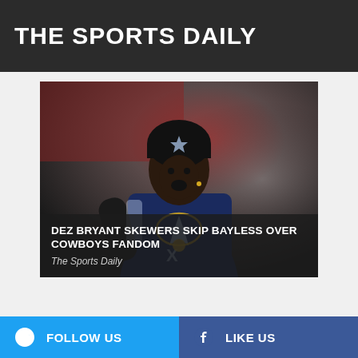THE SPORTS DAILY
[Figure (photo): Dez Bryant in Dallas Cowboys gear wearing a black beanie hat and Cowboys star necklace, mouth open, on a red-background field.]
DEZ BRYANT SKEWERS SKIP BAYLESS OVER COWBOYS FANDOM
The Sports Daily
FOLLOW US   LIKE US